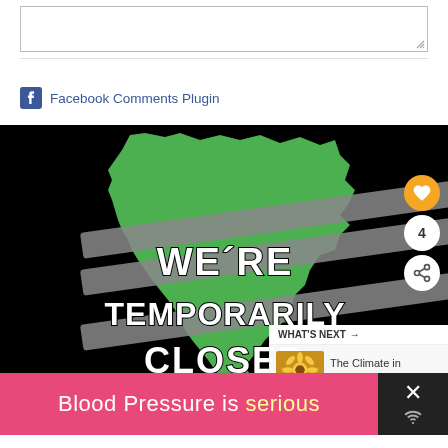[Figure (screenshot): Comment text input box (empty) with resize handle at bottom right]
Facebook Comments Plugin
[Figure (illustration): Black background with green Italy map shape and text WE'RE TEMPORARILY CLOSED overlaid in white distressed font with strikethrough bars. Floating buttons: orange heart icon, number 4, share icon. What's Next panel showing sunflower thumbnail and text 'The Climate in Venice Italy -...'. Pink ad banner at bottom reading 'Blood Pressure is serious'.]